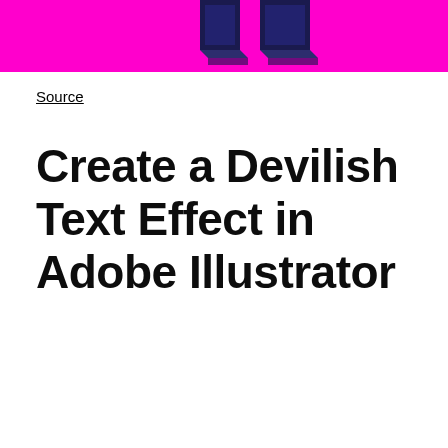[Figure (illustration): Banner image with magenta/pink background and dark navy 3D block letter shapes visible at the top center]
Source
Create a Devilish Text Effect in Adobe Illustrator